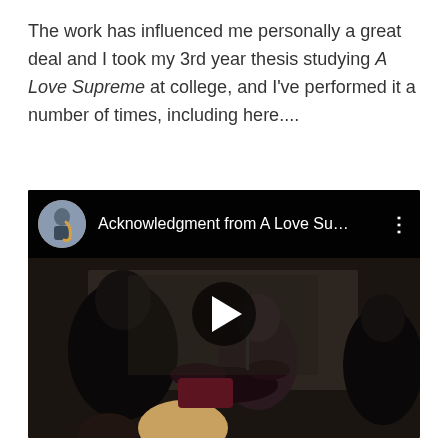The work has influenced me personally a great deal and I took my 3rd year thesis studying A Love Supreme at college, and I've performed it a number of times, including here....
[Figure (screenshot): Embedded YouTube video thumbnail showing a jazz performance in a church/hall setting with musicians on stage. The video header shows a circular avatar of a saxophonist and the title 'Acknowledgment from A Love Su...' with a three-dot menu icon. A play button is centered over the darkened scene.]